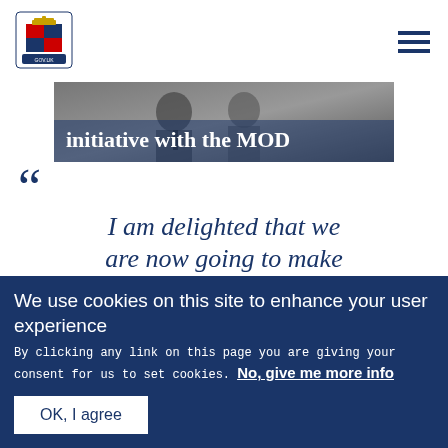[Figure (logo): UK Government Royal Coat of Arms logo (MOD / gov.uk style crest)]
[Figure (photo): Hero banner image showing men in suits, text overlay: 'initiative with the MOD']
““ I am delighted that we are now going to make
We use cookies on this site to enhance your user experience
By clicking any link on this page you are giving your consent for us to set cookies. No, give me more info
OK, I agree